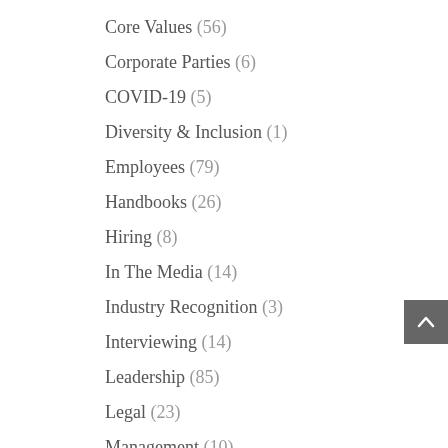Core Values (56)
Corporate Parties (6)
COVID-19 (5)
Diversity & Inclusion (1)
Employees (79)
Handbooks (26)
Hiring (8)
In The Media (14)
Industry Recognition (3)
Interviewing (14)
Leadership (85)
Legal (23)
Management (10)